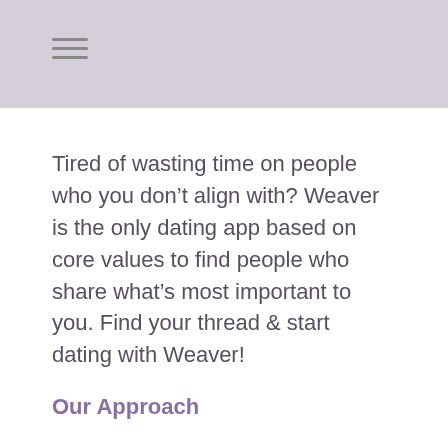Tired of wasting time on people who you don’t align with? Weaver is the only dating app based on core values to find people who share what’s most important to you. Find your thread & start dating with Weaver!
Our Approach